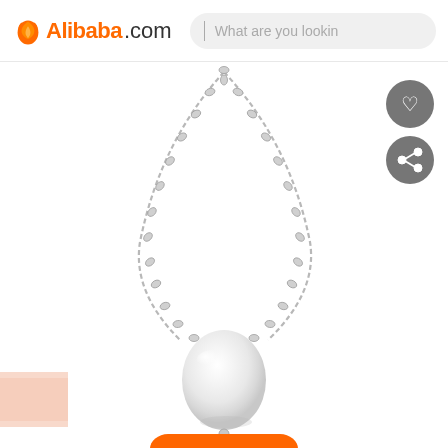Alibaba.com | What are you lookin
[Figure (photo): Pearl pendant necklace with silver chain on white background, shown on Alibaba.com product listing page. The necklace features an oval/baroque white pearl pendant hanging from a delicate silver rolo chain. Two circular grey icon buttons (heart/wishlist and share) are visible on the upper right. A small salmon-colored swatch is partially visible lower left and an orange button is partially visible at the bottom.]